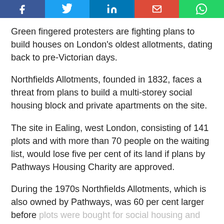[Figure (other): Social media sharing buttons bar: Facebook, Twitter, LinkedIn, Gmail/Google+, WhatsApp]
Green fingered protesters are fighting plans to build houses on London's oldest allotments, dating back to pre-Victorian days.
Northfields Allotments, founded in 1832, faces a threat from plans to build a multi-storey social housing block and private apartments on the site.
The site in Ealing, west London, consisting of 141 plots and with more than 70 people on the waiting list, would lose five per cent of its land if plans by Pathways Housing Charity are approved.
During the 1970s Northfields Allotments, which is also owned by Pathways, was 60 per cent larger before plots were bought for social housing and flats.